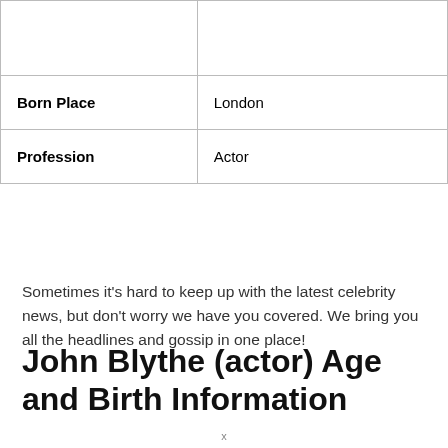| Born Place | London |
| Profession | Actor |
Sometimes it's hard to keep up with the latest celebrity news, but don't worry we have you covered. We bring you all the headlines and gossip in one place!
John Blythe (actor) Age and Birth Information
x